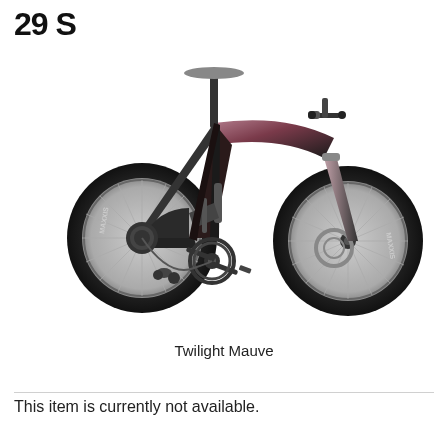29 S
[Figure (photo): Full-suspension mountain bike in Twilight Mauve (dark black/rose gradient) with Maxxis tires on both wheels, disc brakes on front wheel, dropper post, and SRAM drivetrain. Bike shown in side-profile view facing right.]
Twilight Mauve
This item is currently not available.